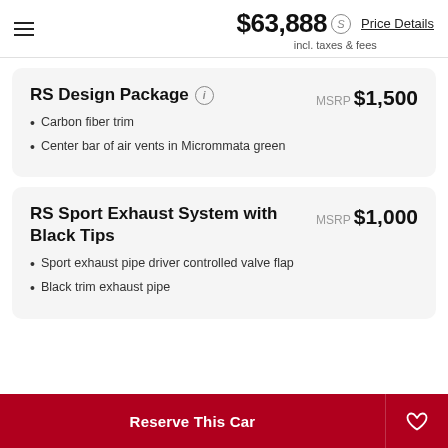$63,888 incl. taxes & fees | Price Details
RS Design Package
MSRP $1,500
Carbon fiber trim
Center bar of air vents in Micrommata green
RS Sport Exhaust System with Black Tips
MSRP $1,000
Sport exhaust pipe driver controlled valve flap
Black trim exhaust pipe
Reserve This Car